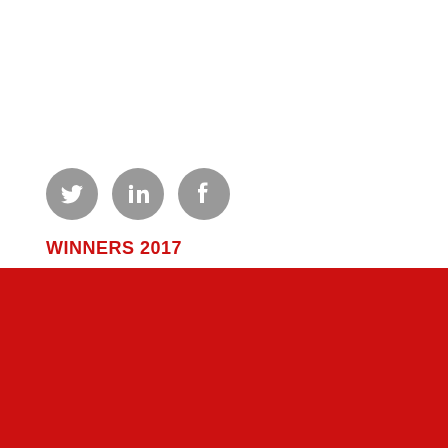[Figure (illustration): Three social media icons (Twitter, LinkedIn, Facebook) as grey circles with white logos]
WINNERS 2017
BEST ISSUES MANAGEMENT
This website uses cookies to improve your experience. By continuing to use this website, we assume you agree to our Cookies Policy.